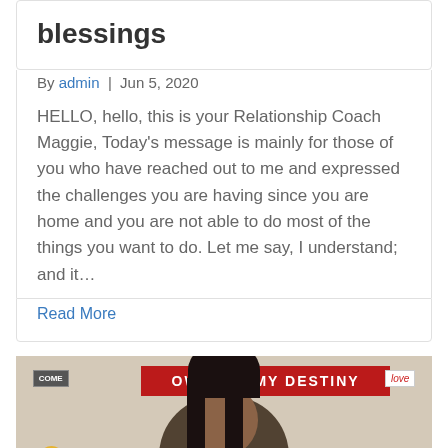blessings
By admin | Jun 5, 2020
HELLO, hello, this is your Relationship Coach Maggie, Today's message is mainly for those of you who have reached out to me and expressed the challenges you are having since you are home and you are not able to do most of the things you want to do. Let me say, I understand; and it…
Read More
[Figure (photo): Woman in white blouse sitting before a red banner reading 'OWNING MY DESTINY', with yellow flowers to the left and decorative signs including 'COME' and 'love' on the wall behind her.]